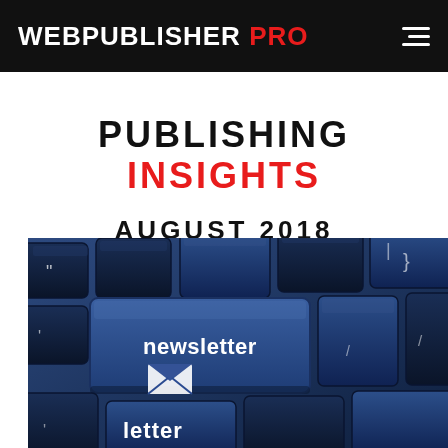WEBPUBLISHER PRO
PUBLISHING INSIGHTS AUGUST 2018
[Figure (photo): Close-up photo of a blue computer keyboard with a highlighted 'newsletter' key featuring an envelope/mail icon]